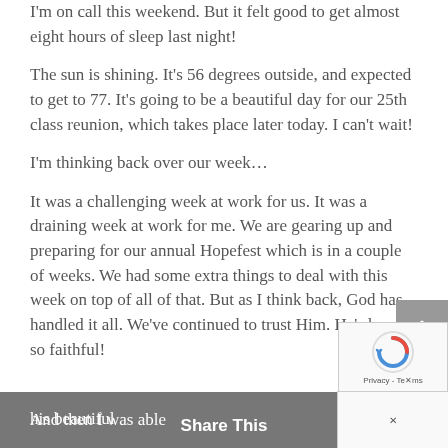I'm on call this weekend. But it felt good to get almost eight hours of sleep last night!
The sun is shining. It's 56 degrees outside, and expected to get to 77. It's going to be a beautiful day for our 25th class reunion, which takes place later today. I can't wait!
I'm thinking back over our week…
It was a challenging week at work for us. It was a draining week at work for me. We are gearing up and preparing for our annual Hopefest which is in a couple of weeks. We had some extra things to deal with this week on top of all of that. But as I think back, God has handled it all. We've continued to trust Him. He's been so faithful!
And then I was able to see this beautiful